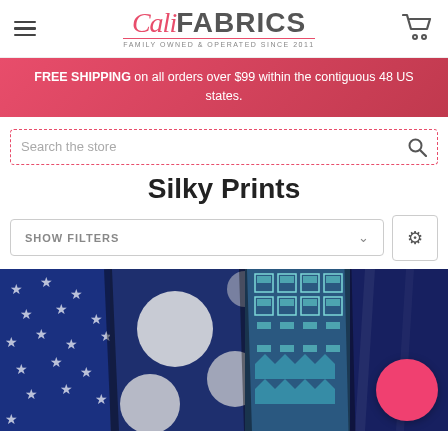[Figure (logo): CaliFABRICS logo with hamburger menu and cart icon in header]
FREE SHIPPING on all orders over $99 within the contiguous 48 US states.
Search the store
Silky Prints
SHOW FILTERS
[Figure (photo): Close-up photo of blue silky fabric prints showing star pattern, large polka dots, and geometric/aztec patterns in navy and teal blues]